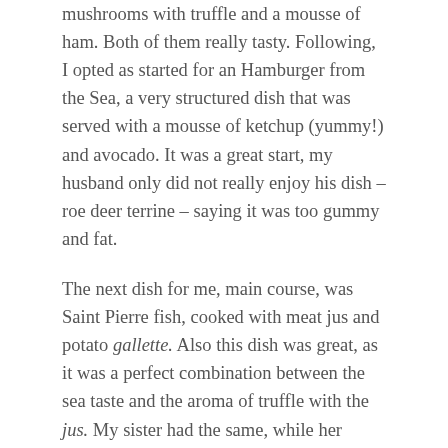mushrooms with truffle and a mousse of ham. Both of them really tasty. Following, I opted as started for an Hamburger from the Sea, a very structured dish that was served with a mousse of ketchup (yummy!) and avocado. It was a great start, my husband only did not really enjoy his dish – roe deer terrine – saying it was too gummy and fat.
The next dish for me, main course, was Saint Pierre fish, cooked with meat jus and potato gallette. Also this dish was great, as it was a perfect combination between the sea taste and the aroma of truffle with the jus. My sister had the same, while her fiancée took a kind of saltimbocca and my husband the picanha. Everyone loves his dish.
Next step was the chariot of cheese, that is always